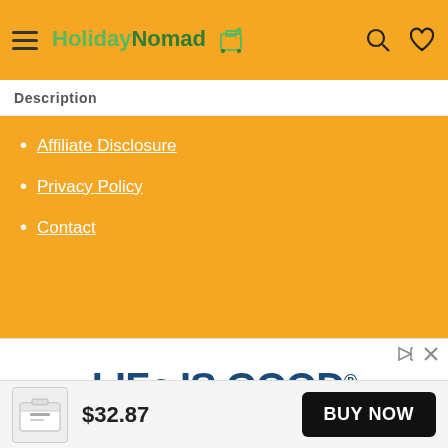HolidayNomad (logo with hamburger menu, search icon, heart icon)
Description
Affiliate Disclosure
Privacy Policy
Contact
[Figure (screenshot): Life Is Good brand advertisement showing bold dark blue 'LIFE IS GOOD®' text above a dark cylindrical product (tumbler/mug), with ad control icons (play and close) in top right corner]
$32.87
BUY NOW